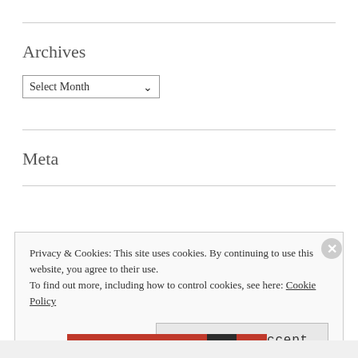Archives
[Figure (other): A dropdown select widget labeled 'Select Month' with a down arrow]
Meta
Register
Privacy & Cookies: This site uses cookies. By continuing to use this website, you agree to their use.
To find out more, including how to control cookies, see here: Cookie Policy
Close and accept